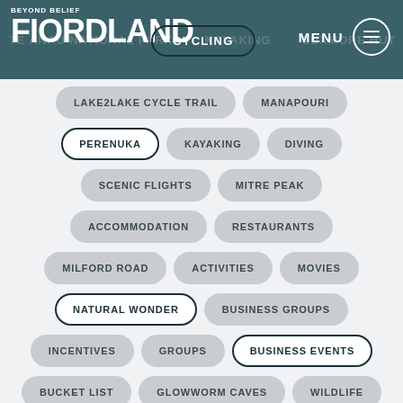BEYOND BELIEF FIORDLAND | CYCLING | MENU
LAKE2LAKE CYCLE TRAIL
MANAPOURI
PERENUKA
KAYAKING
DIVING
SCENIC FLIGHTS
MITRE PEAK
ACCOMMODATION
RESTAURANTS
MILFORD ROAD
ACTIVITIES
MOVIES
NATURAL WONDER
BUSINESS GROUPS
INCENTIVES
GROUPS
BUSINESS EVENTS
BUCKET LIST
GLOWWORM CAVES
WILDLIFE